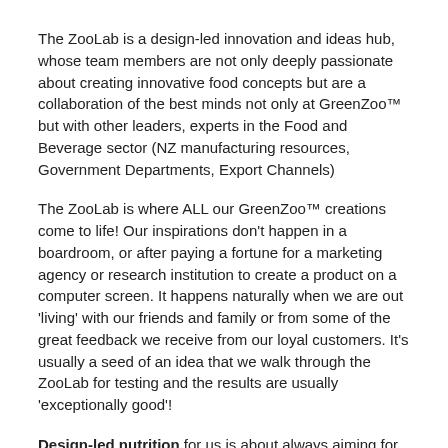The ZooLab is a design-led innovation and ideas hub, whose team members are not only deeply passionate about creating innovative food concepts but are a collaboration of the best minds not only at GreenZoo™ but with other leaders, experts in the Food and Beverage sector (NZ manufacturing resources, Government Departments, Export Channels)
The ZooLab is where ALL our GreenZoo™ creations come to life! Our inspirations don't happen in a boardroom, or after paying a fortune for a marketing agency or research institution to create a product on a computer screen. It happens naturally when we are out 'living' with our friends and family or from some of the great feedback we receive from our loyal customers. It's usually a seed of an idea that we walk through the ZooLab for testing and the results are usually 'exceptionally good'!
Design-led nutrition for us is about always aiming for perfection in a balanced way, being fast and nimble and never thinking like a corporate which is all about hitting sales targets and driving costs downs.
The ZooLab team are definitely a quirky bunch but when they get